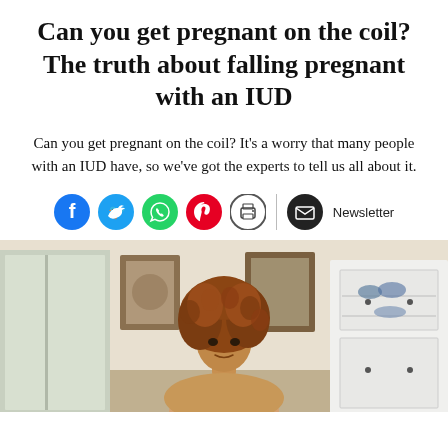Can you get pregnant on the coil? The truth about falling pregnant with an IUD
Can you get pregnant on the coil? It's a worry that many people with an IUD have, so we've got the experts to tell us all about it.
[Figure (infographic): Social sharing icons: Facebook, Twitter, WhatsApp, Pinterest, Print, Email, and Newsletter label]
[Figure (photo): A woman with curly reddish-brown hair in a domestic interior setting with white cabinets and framed pictures on the wall behind her]